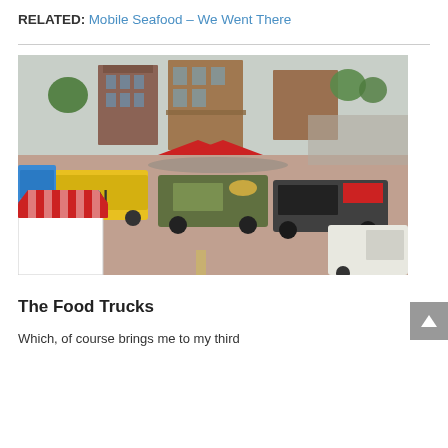RELATED: Mobile Seafood – We Went There
[Figure (photo): Aerial view of a food truck festival in an urban plaza, showing colorful food trucks including a yellow truck with 'FRAN' lettering, a green truck, striped tent stall, red canopy tents, and crowds of people, with brick buildings in the background.]
The Food Trucks
Which, of course brings me to my third